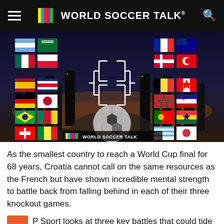WORLD SOCCER TALK
[Figure (infographic): World Cup bracket infographic showing national flags arranged in a tournament bracket format against a nighttime city skyline backdrop, with a soccer ball in the foreground. World Soccer Talk logo watermark at bottom. Shows flags of countries including Argentina, Saudi Arabia, Mexico, Poland, Spain, Germany, Japan, Brazil, Switzerland, France, Australia, Denmark, Tunisia, Belgium, Canada, Morocco, Croatia, Portugal, Ghana, Uruguay, South Korea.]
As the smallest country to reach a World Cup final for 68 years, Croatia cannot call on the same resources as the French but have shown incredible mental strength to battle back from falling behind in each of their three knockout games.
P Sport looks at three key battles that could tide who are crowned champions of the world: